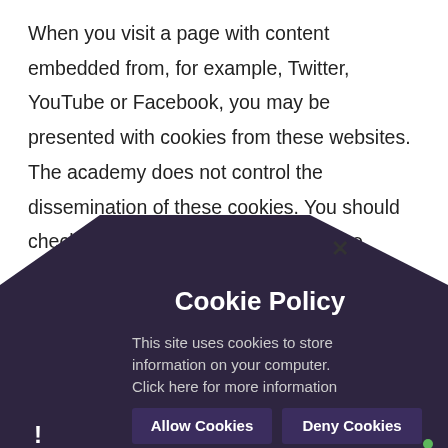When you visit a page with content embedded from, for example, Twitter, YouTube or Facebook, you may be presented with cookies from these websites. The academy does not control the dissemination of these cookies. You should check the third party websites for more information about these.
We use the following services:
YouTube - to embed videos.
Twitter - to display the latest news and updates from candidates.
... - website and related ...
[Figure (screenshot): Cookie Policy modal dialog overlay with dark purple/charcoal background in house/pentagon shape. Contains title 'Cookie Policy', message 'This site uses cookies to store information on your computer. Click here for more information', and two buttons: 'Allow Cookies' and 'Deny Cookies'. Has an X close button at top and warning icon at bottom left.]